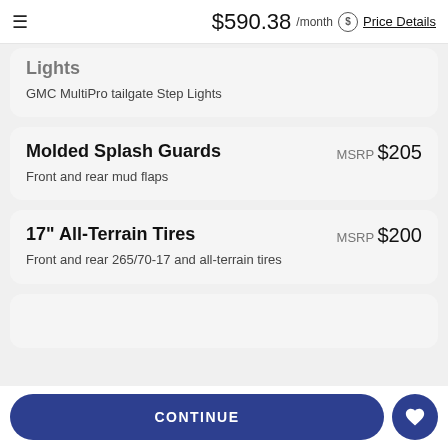$590.38 /month Price Details
Lights
GMC MultiPro tailgate Step Lights
Molded Splash Guards  MSRP $205
Front and rear mud flaps
17" All-Terrain Tires  MSRP $200
Front and rear 265/70-17 and all-terrain tires